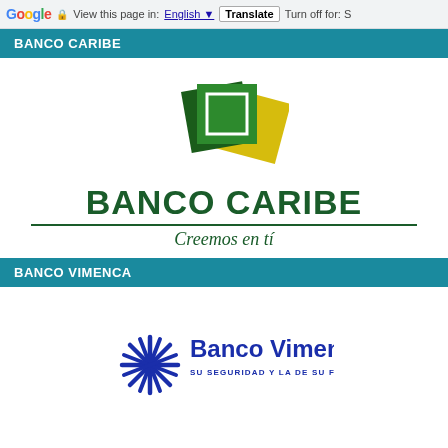Google | View this page in: English | Translate | Turn off for: S
BANCO CARIBE
[Figure (logo): Banco Caribe logo: overlapping rotated squares in dark green, medium green, and yellow, with a white square outline in the center green diamond.]
BANCO CARIBE
Creemos en tí
BANCO VIMENCA
[Figure (logo): Banco Vimenca logo: a blue starburst/asterisk symbol on the left, followed by bold blue text 'Banco Vimenca' and beneath it smaller text 'SU SEGURIDAD Y LA DE SU FAMILIA'.]